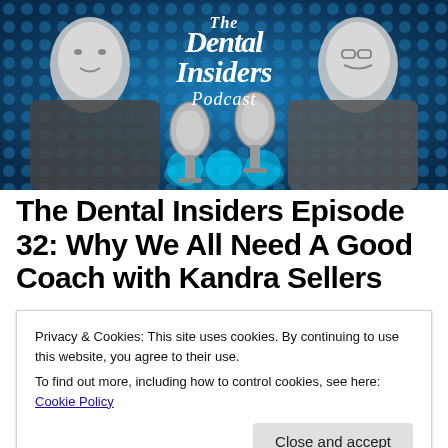[Figure (illustration): The Dental Insiders Podcast banner image showing two men in black and white with two microphones in the center on a teal/blue dotted background, with stylized white script text reading 'The Dental Insiders Podcast']
The Dental Insiders Episode 32: Why We All Need A Good Coach with Kandra Sellers
Privacy & Cookies: This site uses cookies. By continuing to use this website, you agree to their use.
To find out more, including how to control cookies, see here: Cookie Policy
Close and accept
with the crowds of providing management training and information...